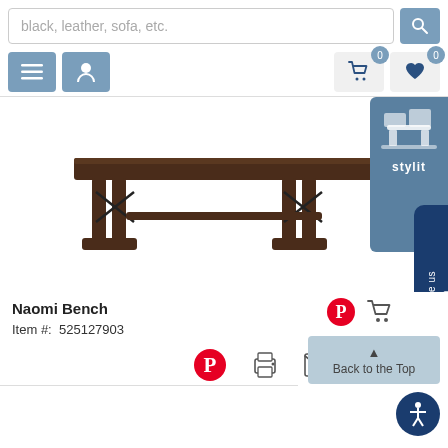[Figure (screenshot): E-commerce product page for Naomi Bench with search bar, navigation icons, product image of a dark wood bench, product title, item number, and share/action icons.]
black, leather, sofa, etc.
[Figure (photo): Dark wood rectangular bench with trestle-style legs and metal cross-braces.]
Naomi Bench
Item #:  525127903
Back to the Top